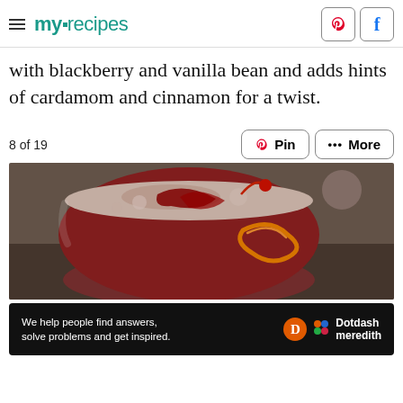myrecipes
with blackberry and vanilla bean and adds hints of cardamom and cinnamon for a twist.
8 of 19
[Figure (photo): Close-up photo of a dark red cocktail in a round glass garnished with a red cherry and a curled orange peel, with foam on top]
We help people find answers, solve problems and get inspired. Dotdash meredith